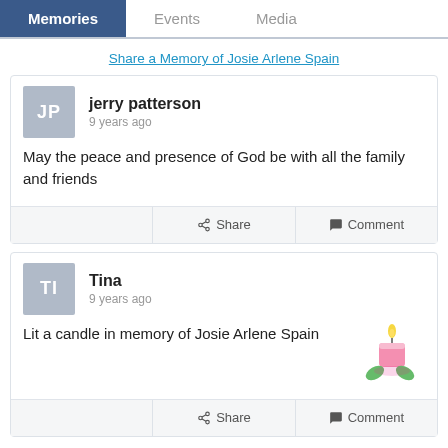Memories | Events | Media
Share a Memory of Josie Arlene Spain
jerry patterson
9 years ago
May the peace and presence of God be with all the family and friends
Tina
9 years ago
Lit a candle in memory of Josie Arlene Spain